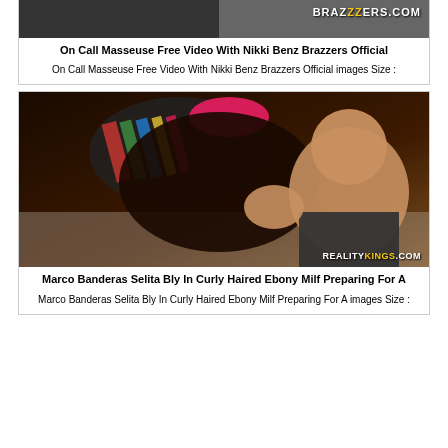[Figure (photo): Top partial image with Brazzers.com logo watermark on dark background]
On Call Masseuse Free Video With Nikki Benz Brazzers Official
On Call Masseuse Free Video With Nikki Benz Brazzers Official images Size :
[Figure (photo): RealityKings.com watermarked photo showing two people]
Marco Banderas Selita Bly In Curly Haired Ebony Milf Preparing For A
Marco Banderas Selita Bly In Curly Haired Ebony Milf Preparing For A images Size :